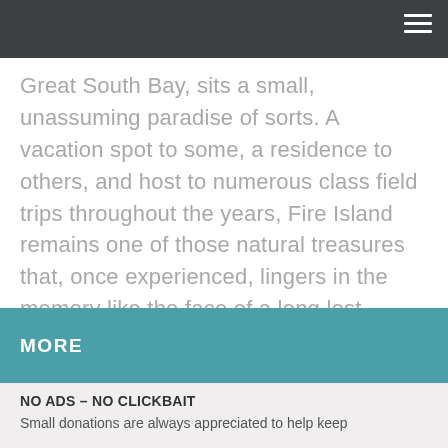Great South Bay, sits a small, unassuming paradise of sorts. A vacation spot to some, a residence to others, and host to numerous class field trips throughout the years, Fire Island remains one of those natural treasures that, once experienced, lingers in the memory like the face of a long lost friend. … read more
MORE
NO ADS – NO CLICKBAIT
Small donations are always appreciated to help keep